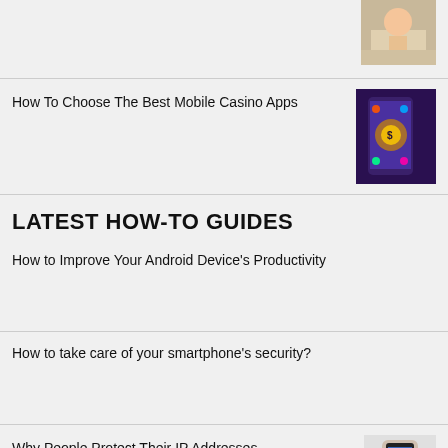How To Choose The Best Mobile Casino Apps
[Figure (photo): Casino mobile apps screenshot with phone showing colorful casino game]
LATEST HOW-TO GUIDES
How to Improve Your Android Device's Productivity
How to take care of your smartphone's security?
Why People Protect Their IP Addresses
[Figure (photo): Hand holding smartphone]